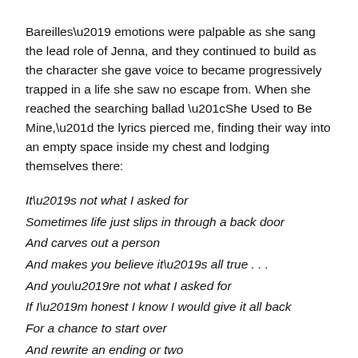Bareilles' emotions were palpable as she sang the lead role of Jenna, and they continued to build as the character she gave voice to became progressively trapped in a life she saw no escape from. When she reached the searching ballad “She Used to Be Mine,” the lyrics pierced me, finding their way into an empty space inside my chest and lodging themselves there:
It’s not what I asked for
Sometimes life just slips in through a back door
And carves out a person
And makes you believe it’s all true . . .
And you’re not what I asked for
If I’m honest I know I would give it all back
For a chance to start over
And rewrite an ending or two